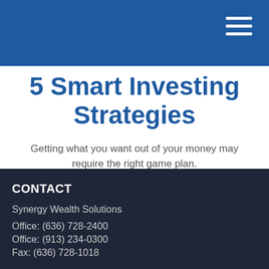5 Smart Investing Strategies
Getting what you want out of your money may require the right game plan.
CONTACT
Synergy Wealth Solutions
Office: (636) 728-2400
Office: (913) 234-0300
Fax: (636) 728-1018